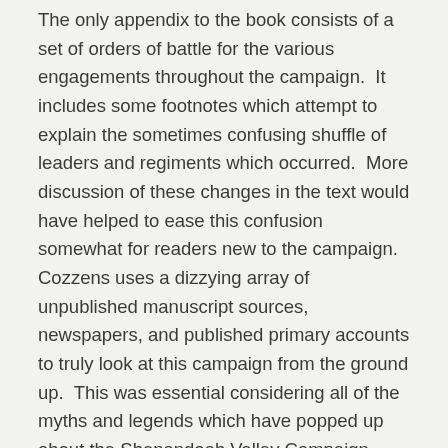The only appendix to the book consists of a set of orders of battle for the various engagements throughout the campaign. It includes some footnotes which attempt to explain the sometimes confusing shuffle of leaders and regiments which occurred. More discussion of these changes in the text would have helped to ease this confusion somewhat for readers new to the campaign. Cozzens uses a dizzying array of unpublished manuscript sources, newspapers, and published primary accounts to truly look at this campaign from the ground up. This was essential considering all of the myths and legends which have popped up about the Shenandoah Valley Campaign through the ensuing years. The author should be applauded for going above and beyond in his research. A serviceable index rounds out the book.
The maps, created by the always reliable George Skoch, were for the most part satisfactory. I have no major